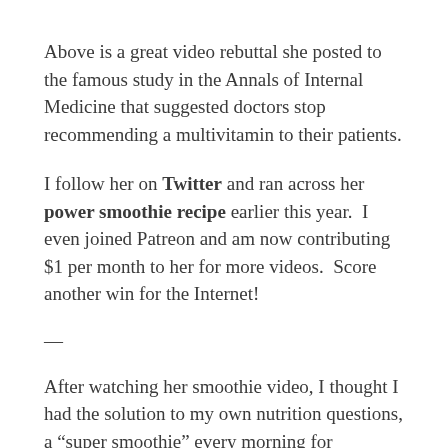Above is a great video rebuttal she posted to the famous study in the Annals of Internal Medicine that suggested doctors stop recommending a multivitamin to their patients.
I follow her on Twitter and ran across her power smoothie recipe earlier this year.  I even joined Patreon and am now contributing $1 per month to her for more videos.  Score another win for the Internet!
—
After watching her smoothie video, I thought I had the solution to my own nutrition questions, a “super smoothie” every morning for breakfast.